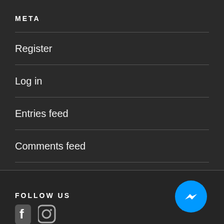META
Register
Log in
Entries feed
Comments feed
WordPress.org
[Figure (logo): Facebook Messenger blue circle chat bubble icon button]
FOLLOW US
[Figure (logo): Social media icons: Facebook and Instagram partially visible at bottom]